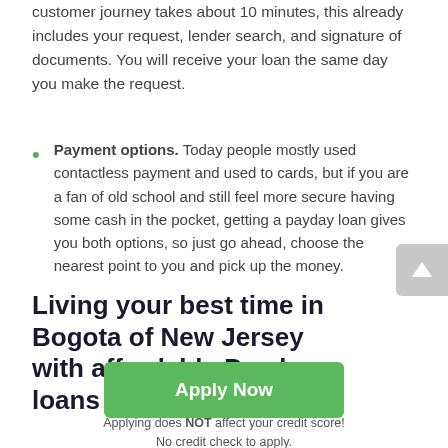customer journey takes about 10 minutes, this already includes your request, lender search, and signature of documents. You will receive your loan the same day you make the request.
Payment options. Today people mostly used contactless payment and used to cards, but if you are a fan of old school and still feel more secure having some cash in the pocket, getting a payday loan gives you both options, so just go ahead, choose the nearest point to you and pick up the money.
Living your best time in Bogota of New Jersey with affordable Payday loans
Apply Now
Applying does NOT affect your credit score!
No credit check to apply.